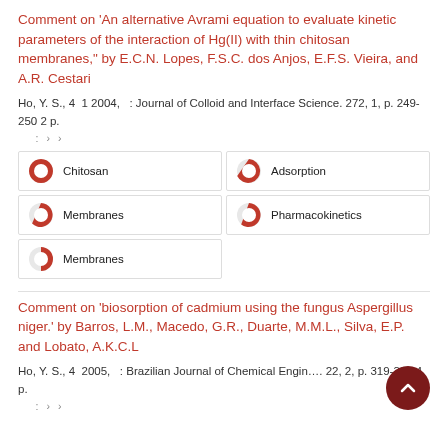Comment on 'An alternative Avrami equation to evaluate kinetic parameters of the interaction of Hg(II) with thin chitosan membranes,' by E.C.N. Lopes, F.S.C. dos Anjos, E.F.S. Vieira, and A.R. Cestari
Ho, Y. S., 4 1 2004, : Journal of Colloid and Interface Science. 272, 1, p. 249-250 2 p.
: › ›
[Figure (infographic): Keyword tags with percentage circles: Chitosan 100%, Adsorption ~75%, Membranes ~60%, Pharmacokinetics ~55%, Membranes ~50%]
Comment on 'biosorption of cadmium using the fungus Aspergillus niger.' by Barros, L.M., Macedo, G.R., Duarte, M.M.L., Silva, E.P. and Lobato, A.K.C.L
Ho, Y. S., 4 2005, : Brazilian Journal of Chemical Engineering. 22, 2, p. 319-322 4 p.
: › ›